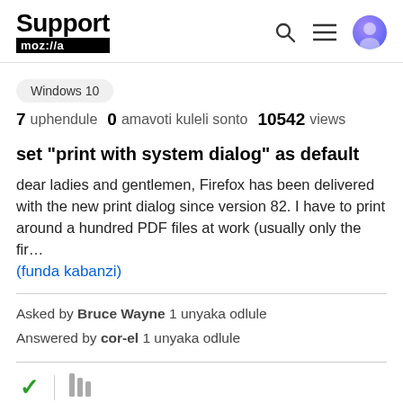Support moz://a
Windows 10
7 uphendule  0 amavoti kuleli sonto  10542 views
set "print with system dialog" as default
dear ladies and gentlemen, Firefox has been delivered with the new print dialog since version 82. I have to print around a hundred PDF files at work (usually only the fir... (funda kabanzi)
Asked by Bruce Wayne 1 unyaka odlule
Answered by cor-el 1 unyaka odlule